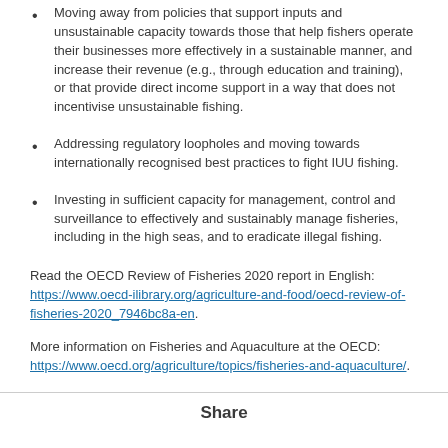Moving away from policies that support inputs and unsustainable capacity towards those that help fishers operate their businesses more effectively in a sustainable manner, and increase their revenue (e.g., through education and training), or that provide direct income support in a way that does not incentivise unsustainable fishing.
Addressing regulatory loopholes and moving towards internationally recognised best practices to fight IUU fishing.
Investing in sufficient capacity for management, control and surveillance to effectively and sustainably manage fisheries, including in the high seas, and to eradicate illegal fishing.
Read the OECD Review of Fisheries 2020 report in English: https://www.oecd-ilibrary.org/agriculture-and-food/oecd-review-of-fisheries-2020_7946bc8a-en.
More information on Fisheries and Aquaculture at the OECD: https://www.oecd.org/agriculture/topics/fisheries-and-aquaculture/.
Share